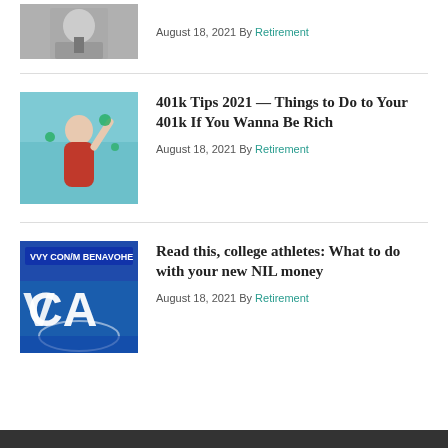[Figure (photo): Black and white headshot photo of a man in a suit]
August 18, 2021 By Retirement
[Figure (photo): Woman in red swimsuit in a pool with money/butterflies around her]
401k Tips 2021 — Things to Do to Your 401k If You Wanna Be Rich
August 18, 2021 By Retirement
[Figure (photo): Blue NCAA logo/court photo with text overlay]
Read this, college athletes: What to do with your new NIL money
August 18, 2021 By Retirement